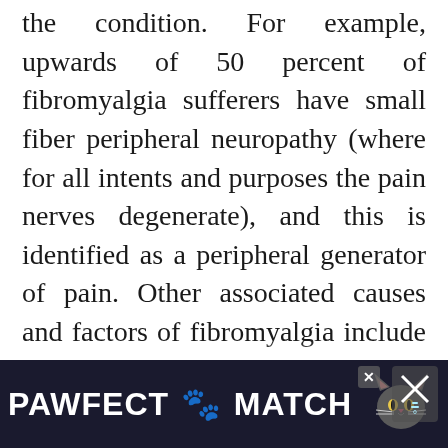the condition. For example, upwards of 50 percent of fibromyalgia sufferers have small fiber peripheral neuropathy (where for all intents and purposes the pain nerves degenerate), and this is identified as a peripheral generator of pain. Other associated causes and factors of fibromyalgia include abnormal pain receptor transmission (seen in upwards of 80 percent of those with fibromyalgia), a form of autoimmune thyroid disease referred to as Hashimoto's thyroiditis, non-celiac gluten sensitivity, post-traumatic stress disorder secondary to ch...
[Figure (other): Advertisement banner for 'PAWFECT MATCH' showing a cat face graphic with white bold text on dark blue background, with close buttons]